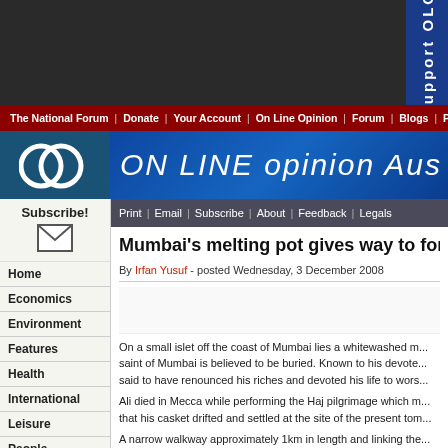[Figure (screenshot): Dark top banner of website with blue right strip reading 'support OLO']
The National Forum | Donate | Your Account | On Line Opinion | Forum | Blogs | Polling
[Figure (logo): ON LINE opinion Australia logo with two overlapping circles on left]
Print | Email | Subscribe | About | Feedback | Legals
Mumbai's melting pot gives way to forc
By Irfan Yusuf - posted Wednesday, 3 December 2008
Subscribe!
Home
Economics
Environment
Features
Health
International
Leisure
People
Politics
Technology
On a small islet off the coast of Mumbai lies a whitewashed m... saint of Mumbai is believed to be buried. Known to his devote... said to have renounced his riches and devoted his life to wors...
Ali died in Mecca while performing the Haj pilgrimage which m... that his casket drifted and settled at the site of the present tom...
A narrow walkway approximately 1km in length and linking the... water. Hence the shrine can be accessed only during low tide...